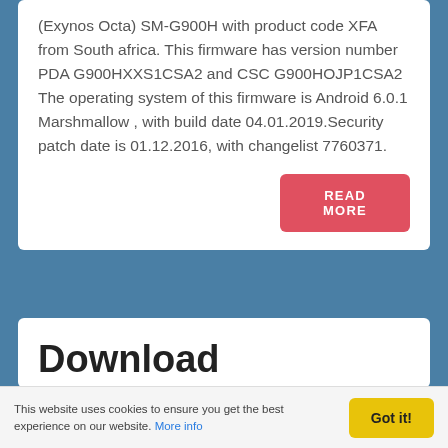(Exynos Octa) SM-G900H with product code XFA from South africa. This firmware has version number PDA G900HXXS1CSA2 and CSC G900HOJP1CSA2 The operating system of this firmware is Android 6.0.1 Marshmallow , with build date 04.01.2019.Security patch date is 01.12.2016, with changelist 7760371.
[Figure (other): Red button labeled READ MORE]
Download G900HXXS1CSC 1 Galax...S5
This website uses cookies to ensure you get the best experience on our website. More info
[Figure (other): Yellow button labeled Got it!]